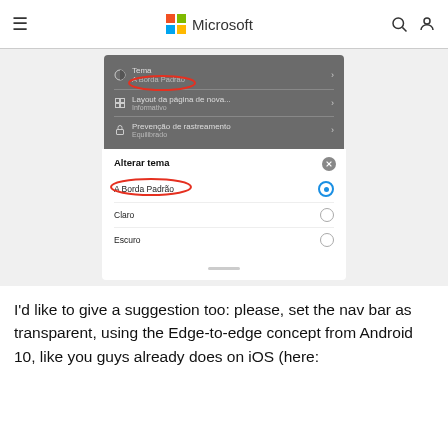Microsoft
[Figure (screenshot): Mobile Edge browser settings screenshot showing Tema section with 'A Borda Padrão' circled in red, and a theme selection dialog with options 'A Borda Padrão' (selected, circled in red), 'Claro', and 'Escuro'.]
I'd like to give a suggestion too: please, set the nav bar as transparent, using the Edge-to-edge concept from Android 10, like you guys already does on iOS (here: